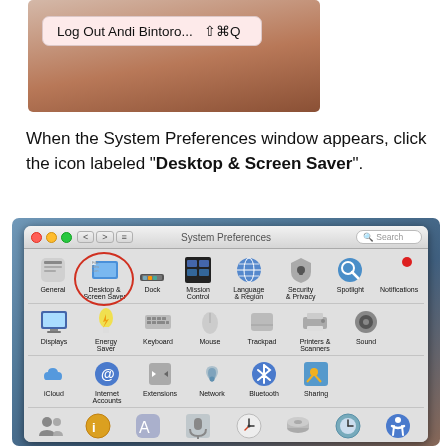[Figure (screenshot): macOS Apple menu showing 'Log Out Andi Bintoro... Shift+Command+Q' menu item highlighted]
When the System Preferences window appears, click the icon labeled "Desktop & Screen Saver".
[Figure (screenshot): macOS System Preferences window with Desktop & Screen Saver icon circled in red. Icons visible: General, Desktop & Screen Saver (circled), Dock, Mission Control, Language & Region, Security & Privacy, Spotlight, Notifications, Displays, Energy Saver, Keyboard, Mouse, Trackpad, Printers & Scanners, Sound, iCloud, Internet Accounts, Extensions, Network, Bluetooth, Sharing, Users & Groups, Parental Controls, App Store, Dictation & Speech, Date & Time, Startup Disk, Time Machine, Accessibility]